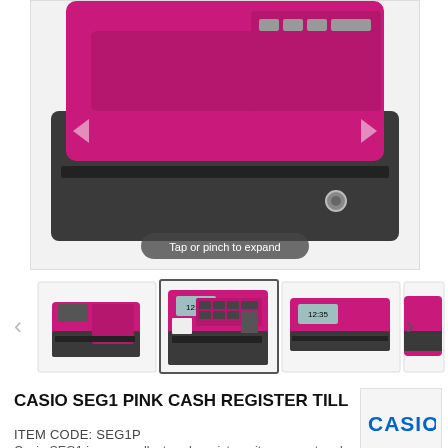[Figure (photo): Close-up top-down view of a pink/magenta Casio SEG1 cash register till showing the pink body, dark grey base, drawer slot, and a circular key lock. Overlay text reads 'Tap or pinch to expand'.]
[Figure (photo): Thumbnail row showing four views of the pink Casio SEG1 cash register: front-left angle, front-on with display showing 12:35, side angle with display, and partial side view. Navigation arrows on left and right.]
CASIO SEG1 PINK CASH REGISTER TILL
ITEM CODE: SEG1P
[Figure (logo): Casio brand logo in blue text with a dot after]
Casio SEG1 is our smallest cash register – its compact and